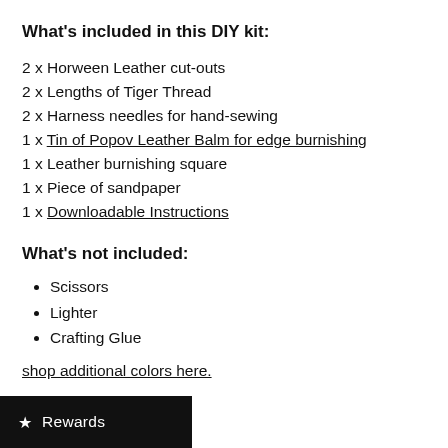What's included in this DIY kit:
2 x Horween Leather cut-outs
2 x Lengths of Tiger Thread
2 x Harness needles for hand-sewing
1 x Tin of Popov Leather Balm for edge burnishing
1 x Leather burnishing square
1 x Piece of sandpaper
1 x Downloadable Instructions
What's not included:
Scissors
Lighter
Crafting Glue
Looking for more thread colors?
shop additional colors here.